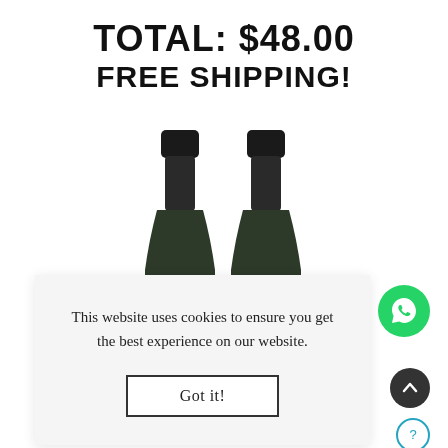TOTAL: $48.00
FREE SHIPPING!
[Figure (photo): Two dark green olive oil bottles with lavender-colored labels marked 'MI', side by side]
This website uses cookies to ensure you get the best experience on our website.
Got it!
[Figure (other): WhatsApp floating button (green circle with WhatsApp logo)]
[Figure (other): Scroll-to-top button (dark circle with upward chevron)]
[Figure (other): Info button (teal circle outline with question mark)]